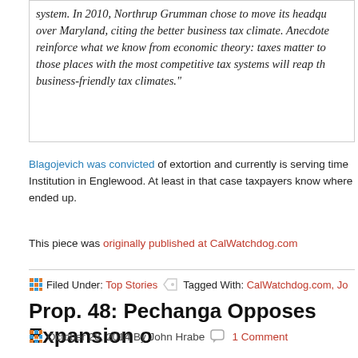system. In 2010, Northrup Grumman chose to move its headquarters over Maryland, citing the better business tax climate. Anecdotes reinforce what we know from economic theory: taxes matter to those places with the most competitive tax systems will reap the business-friendly tax climates."
Blagojevich was convicted of extortion and currently is serving time at Federal Correctional Institution in Englewood. At least in that case taxpayers know where the money ended up.
This piece was originally published at CalWatchdog.com
Filed Under: Top Stories  Tagged With: CalWatchdog.com, Jo
Prop. 48: Pechanga Opposes Expansion o
October 28, 2014 By John Hrabe  1 Comment
A Native American tribe is spending big bucks to limit the expansion of tribal gaming in California.